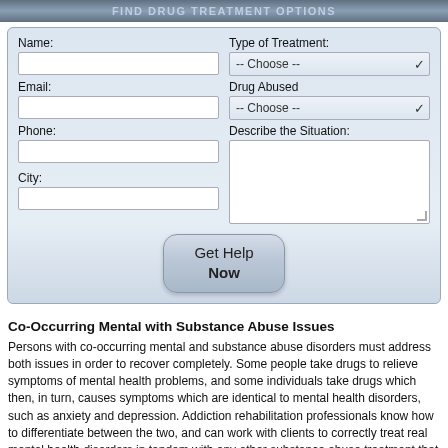FIND DRUG TREATMENT OPTIONS
[Figure (screenshot): Web form with fields for Name, Email, Phone, City, Type of Treatment (dropdown), Drug Abused (dropdown), Describe the Situation (textarea), and a Get Help Now button]
Co-Occurring Mental with Substance Abuse Issues
Persons with co-occurring mental and substance abuse disorders must address both issues in order to recover completely. Some people take drugs to relieve symptoms of mental health problems, and some individuals take drugs which then, in turn, causes symptoms which are identical to mental health disorders, such as anxiety and depression. Addiction rehabilitation professionals know how to differentiate between the two, and can work with clients to correctly treat real mental health disorders in tandem with any other substance abuse treatment that is done with the individual. This has proven to be effective in keeping people with mental health problems off of drugs and mentally stable and